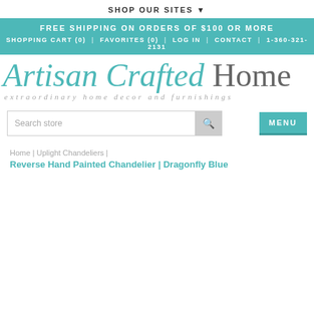SHOP OUR SITES ▼
FREE SHIPPING ON ORDERS OF $100 OR MORE
SHOPPING CART (0)  |  FAVORITES (0)  |  LOG IN  |  CONTACT  |  1-360-321-2131
[Figure (logo): Artisan Crafted Home logo with teal italic serif font and tagline 'extraordinary home decor and furnishings']
Search store
MENU
Home | Uplight Chandeliers | Reverse Hand Painted Chandelier | Dragonfly Blue